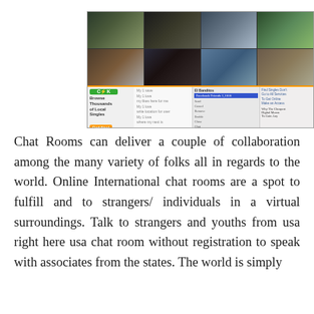[Figure (screenshot): Screenshot of a video chat interface showing a grid of 8 video thumbnails of people at top, and below a chat room website interface with navigation, user list, and an advertisement for 'Browse Thousands of Local Singles']
Chat Rooms can deliver a couple of collaboration among the many variety of folks all in regards to the world. Online International chat rooms are a spot to fulfill and to strangers/ individuals in a virtual surroundings. Talk to strangers and youths from usa right here usa chat room without registration to speak with associates from the states. The world is simply